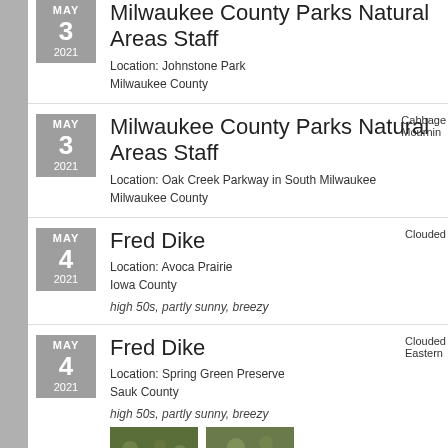MAY 3 2021 — Milwaukee County Parks Natural Areas Staff
Location: Johnstone Park
Milwaukee County
MAY 3 2021 — Milwaukee County Parks Natural Areas Staff
Location: Oak Creek Parkway in South Milwaukee
Milwaukee County
Cabbage... Mournin...
MAY 4 2021 — Fred Dike
Location: Avoca Prairie
Iowa County
high 50s, partly sunny, breezy
Clouded...
MAY 4 2021 — Fred Dike
Location: Spring Green Preserve
Sauk County
high 50s, partly sunny, breezy
Clouded... Eastern...
[Figure (photo): Two small nature/butterfly photos at the bottom of the page, showing ground vegetation]